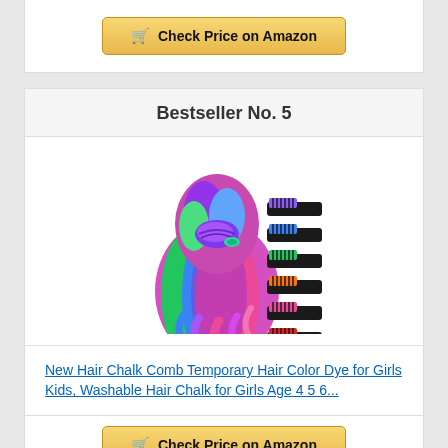Check Price on Amazon
Bestseller No. 5
[Figure (photo): Hair chalk comb set product image showing colorful hair styled with rainbow colors and six hair chalk combs in different colors (purple, blue, green, orange, pink, red) displayed to the right.]
New Hair Chalk Comb Temporary Hair Color Dye for Girls Kids, Washable Hair Chalk for Girls Age 4 5 6...
Check Price on Amazon